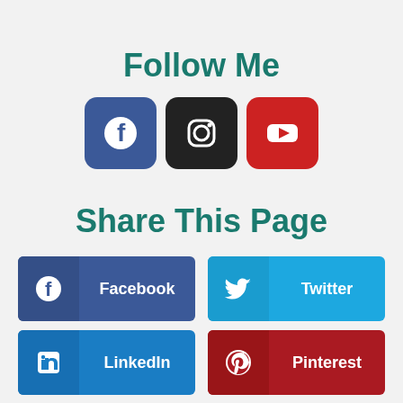Follow Me
[Figure (illustration): Three social media icons: Facebook (blue rounded square), Instagram (dark rounded square), YouTube (red rounded square)]
Share This Page
[Figure (illustration): Four share buttons: Facebook (dark blue), Twitter (light blue), LinkedIn (blue), Pinterest (red)]